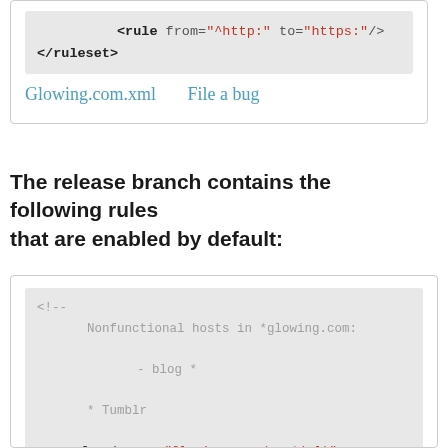<rule from="^http:" to="https:"/>
</ruleset>
Glowing.com.xml   File a bug
The release branch contains the following rules that are enabled by default:
<!--
        Nonfunctional hosts in *glowing.com:

                - blog *

        * Tumblr

--><ruleset name="Glowing.com (partial)">

        <!--    Direct rewrites:
                                -->
        <target host="glowing.com"/>
        <target host="www.glowing.com"/>